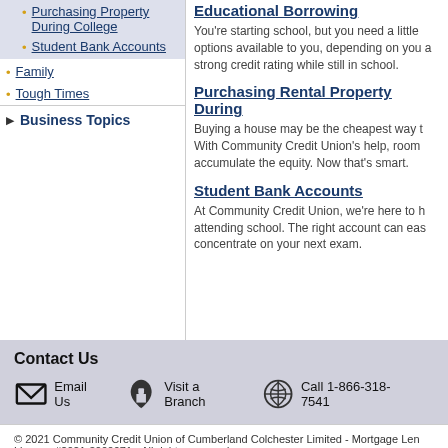Purchasing Property During College
Student Bank Accounts
Family
Tough Times
Business Topics
Educational Borrowing
You're starting school, but you need a little options available to you, depending on you a strong credit rating while still in school.
Purchasing Rental Property During
Buying a house may be the cheapest way t With Community Credit Union's help, room accumulate the equity. Now that's smart.
Student Bank Accounts
At Community Credit Union, we're here to h attending school. The right account can eas concentrate on your next exam.
Contact Us
Email Us
Visit a Branch
Call 1-866-318-7541
© 2021 Community Credit Union of Cumberland Colchester Limited - Mortgage Len License #2021-3000071 - All rights reserved.
Help   Internet Security   Legal and Copyright   Site Map   Accessibility Stateme